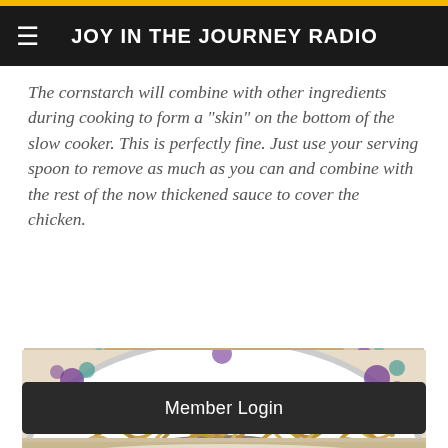JOY IN THE JOURNEY RADIO
The cornstarch will combine with other ingredients during cooking to form a "skin" on the bottom of the slow cooker.  This is perfectly fine.  Just use your serving spoon to remove as much as you can and combine with the rest of the now thickened sauce to cover the chicken.
[Figure (photo): A plate of Chinese-American style dish with crispy chow mein noodles piled high on top of chicken and vegetables including broccoli and red peppers, served on a decorative plate with purple floral design on a white tablecloth.]
Member Login